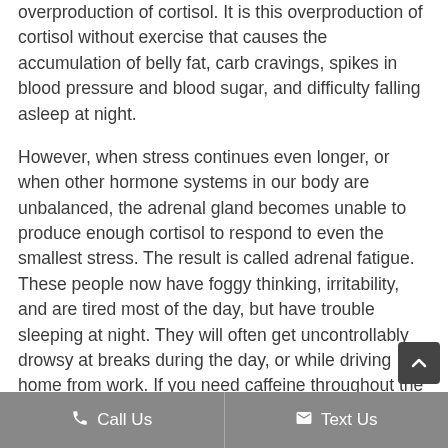overproduction of cortisol. It is this overproduction of cortisol without exercise that causes the accumulation of belly fat, carb cravings, spikes in blood pressure and blood sugar, and difficulty falling asleep at night.
However, when stress continues even longer, or when other hormone systems in our body are unbalanced, the adrenal gland becomes unable to produce enough cortisol to respond to even the smallest stress. The result is called adrenal fatigue. These people now have foggy thinking, irritability, and are tired most of the day, but have trouble sleeping at night. They will often get uncontrollably drowsy at breaks during the day, or while driving home from work. If you need caffeine throughout the day just to function, then you could have adrenal fatigue. Once the adrenal gland is in fatigue, frequent doses of caffeine are craved just to get a tiny burst of energy from your depleted adrenals. Up to 60% of Americans may have some sort of
Call Us   Text Us